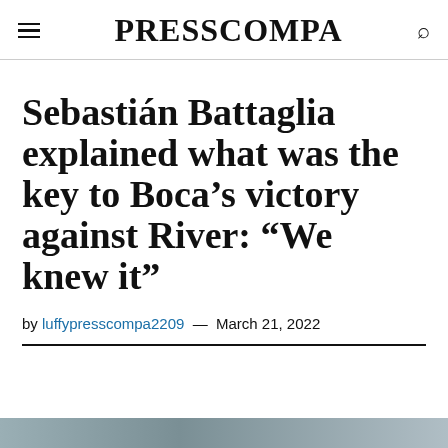PRESSCOMPA
Sebastián Battaglia explained what was the key to Boca’s victory against River: “We knew it”
by luffypresscompa2209 — March 21, 2022
[Figure (photo): Partial image visible at the bottom of the page]